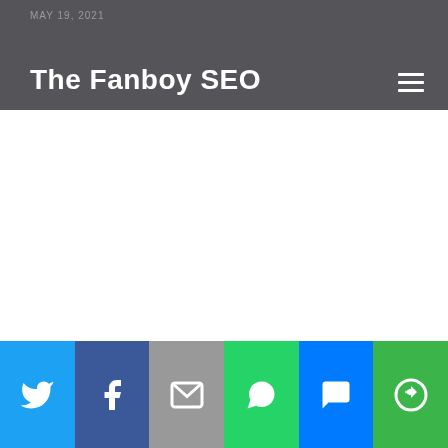MAY 19, 2021
The Fanboy SEO
[Figure (screenshot): Empty white content area below header]
Twitter | Facebook | Email | WhatsApp | SMS | More sharing options